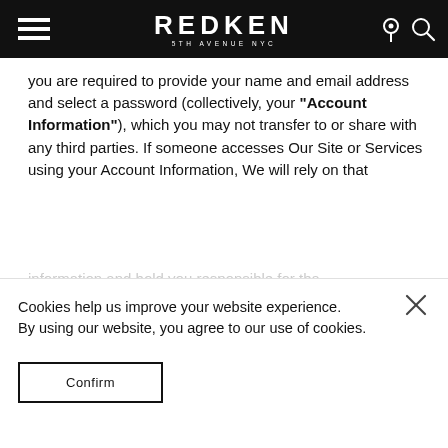REDKEN 5TH AVENUE NYC
you are required to provide your name and email address and select a password (collectively, your “Account Information”), which you may not transfer to or share with any third parties. If someone accesses Our Site or Services using your Account Information, We will rely on that
Cookies help us improve your website experience.
By using our website, you agree to our use of cookies.
Confirm